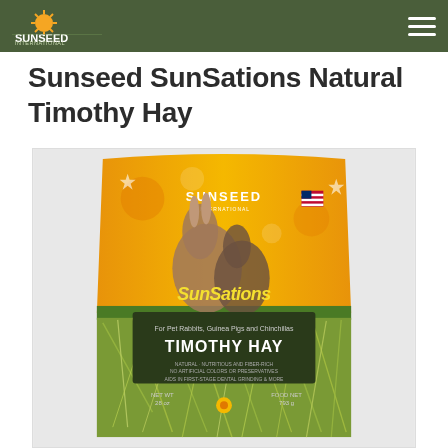Sunseed logo and navigation
Sunseed SunSations Natural Timothy Hay
[Figure (photo): Product packaging photo of Sunseed SunSations Natural Timothy Hay bag. Yellow bag with rabbits, guinea pigs and chinchillas pictured. The bag reads 'SunSations Timothy Hay For Pet Rabbits, Guinea Pigs and Chinchillas'. The bottom half of the image shows actual timothy hay. American flag visible on packaging. Sunseed logo at top of bag.]